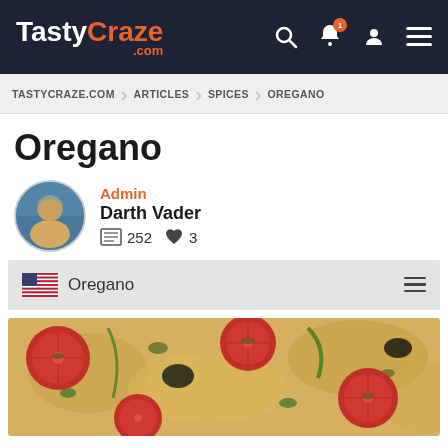TastyCraze .com
TASTYCRAZE.COM > ARTICLES > SPICES > OREGANO
Oregano
Admin
Darth Vader
252 articles  3 likes
Oregano
[Figure (photo): Close-up photo of a pizza topped with oregano, sliced tomatoes, olives, and melted cheese]